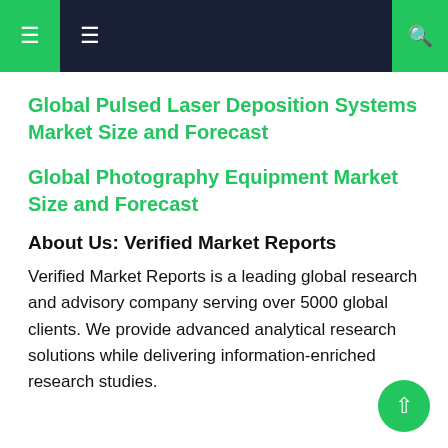Navigation header with menu and search icons
Global Pulsed Laser Deposition Systems Market Size and Forecast
Global Photography Equipment Market Size and Forecast
About Us: Verified Market Reports
Verified Market Reports is a leading global research and advisory company serving over 5000 global clients. We provide advanced analytical research solutions while delivering information-enriched research studies.